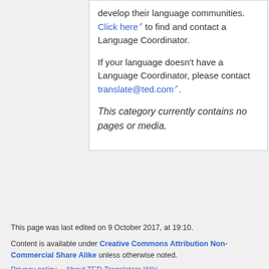develop their language communities. Click here to find and contact a Language Coordinator.
If your language doesn't have a Language Coordinator, please contact translate@ted.com.
This category currently contains no pages or media.
This page was last edited on 9 October 2017, at 19:10.
Content is available under Creative Commons Attribution Non-Commercial Share Alike unless otherwise noted.
Privacy policy   About TED Translators Wiki   Disclaimers
Creative Commons Attribution Non-Commercial Share Alike